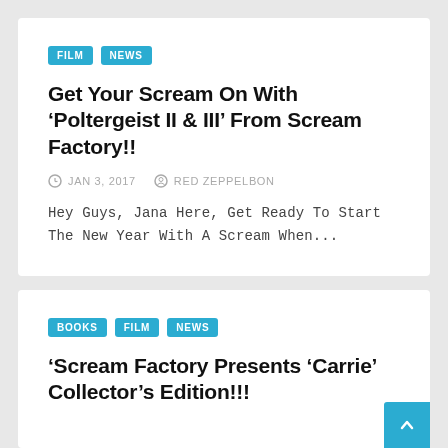FILM | NEWS
Get Your Scream On With ‘Poltergeist II & III’ From Scream Factory!!
JAN 3, 2017 | RED ZEPPELBON
Hey Guys, Jana Here, Get Ready To Start The New Year With A Scream When...
BOOKS | FILM | NEWS
‘Scream Factory Presents ‘Carrie’ Collector’s Edition!!!